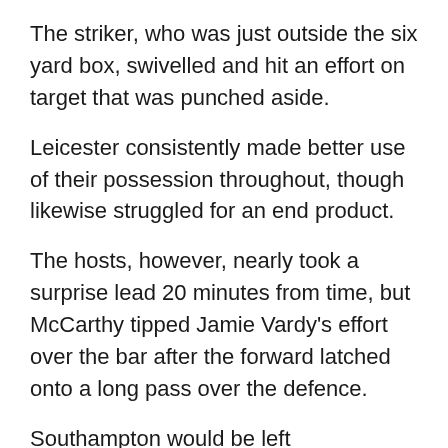The striker, who was just outside the six yard box, swivelled and hit an effort on target that was punched aside.
Leicester consistently made better use of their possession throughout, though likewise struggled for an end product.
The hosts, however, nearly took a surprise lead 20 minutes from time, but McCarthy tipped Jamie Vardy's effort over the bar after the forward latched onto a long pass over the defence.
Southampton would be left disappointed at the full-time whistle as chances to protect their status dwindle.
Leicester: Hamer, Dragovic, Maguire, Chilwell, Albrighton, Ndidi, Silva (Barnes 90+1), Mahrez, Gray,